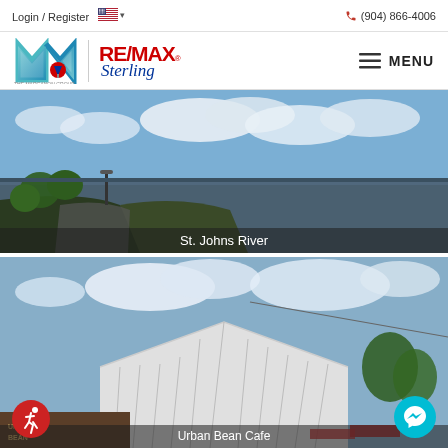Login / Register  (904) 866-4006
[Figure (logo): RE/MAX Sterling - The Marganon Group logo with stylized M and RE/MAX balloon logo]
[Figure (photo): Outdoor riverside path with trees and water view, labeled St. Johns River]
St. Johns River
[Figure (photo): Outdoor photo of building with tent/canopy structure and trees, labeled Urban Bean Cafe]